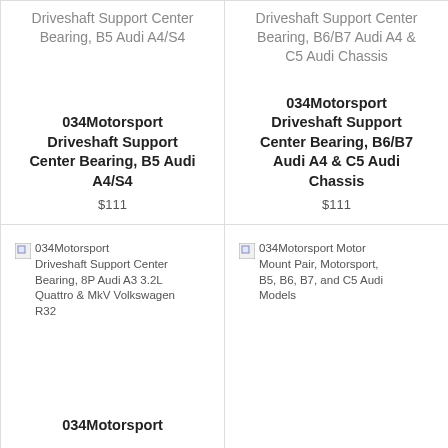Driveshaft Support Center Bearing, B5 Audi A4/S4
034Motorsport Driveshaft Support Center Bearing, B5 Audi A4/S4
$111
Driveshaft Support Center Bearing, B6/B7 Audi A4 & C5 Audi Chassis
034Motorsport Driveshaft Support Center Bearing, B6/B7 Audi A4 & C5 Audi Chassis
$111
[Figure (photo): 034Motorsport Driveshaft Support Center Bearing, 8P Audi A3 3.2L Quattro & MkV Volkswagen R32]
034Motorsport Driveshaft Support Center Bearing, 8P Audi A3 3.2L Quattro & MkV Volkswagen R32
034Motorsport
[Figure (photo): 034Motorsport Motor Mount Pair, Motorsport, B5, B6, B7, and C5 Audi Models]
034Motorsport Motor Mount Pair, Motorsport, B5, B6, B7, and C5 Audi Models